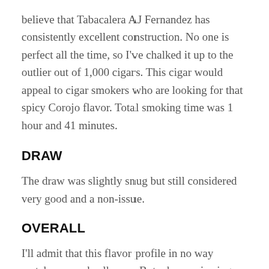believe that Tabacalera AJ Fernandez has consistently excellent construction. No one is perfect all the time, so I've chalked it up to the outlier out of 1,000 cigars. This cigar would appeal to cigar smokers who are looking for that spicy Corojo flavor. Total smoking time was 1 hour and 41 minutes.
DRAW
The draw was slightly snug but still considered very good and a non-issue.
OVERALL
I'll admit that this flavor profile in no way matches my wheelhouse. But when reviewing a cigar, it's not about if a cigar matches my personal tastes. It's way more about if the cigar had good complexities/transitions, non off-putting notes and allowed the various blended tobaccos to shine and